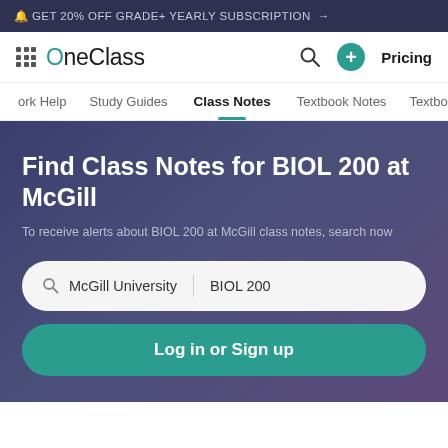🔔 GET 20% OFF GRADE+ YEARLY SUBSCRIPTION →
[Figure (logo): OneClass logo with grid icon and apple symbol]
Pricing
Work Help  Study Guides  Class Notes  Textbook Notes  Textbo
Find Class Notes for BIOL 200 at McGill
To receive alerts about BIOL 200 at McGill class notes, search now
McGill University  |  BIOL 200
Log in or Sign up